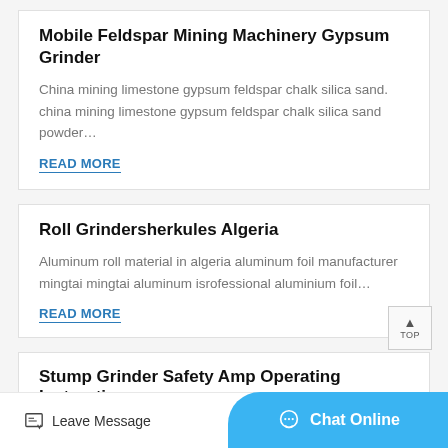Mobile Feldspar Mining Machinery Gypsum Grinder
China mining limestone gypsum feldspar chalk silica sand. china mining limestone gypsum feldspar chalk silica sand powder…
READ MORE
Roll Grindersherkules Algeria
Aluminum roll material in algeria aluminum foil manufacturer mingtai mingtai aluminum isrofessional aluminium foil…
READ MORE
Stump Grinder Safety Amp Operating Instructions
Leave Message  Chat Online